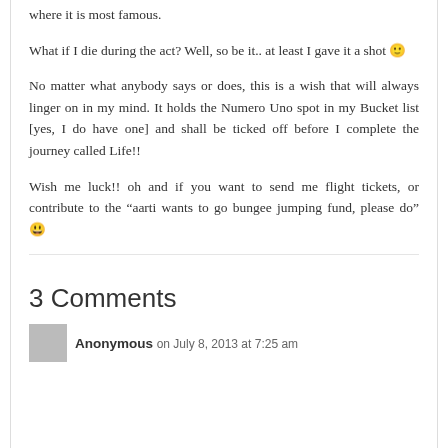where it is most famous.
What if I die during the act? Well, so be it.. at least I gave it a shot 🙂
No matter what anybody says or does, this is a wish that will always linger on in my mind. It holds the Numero Uno spot in my Bucket list [yes, I do have one] and shall be ticked off before I complete the journey called Life!!
Wish me luck!! oh and if you want to send me flight tickets, or contribute to the "aarti wants to go bungee jumping fund, please do" 😃
3 Comments
Anonymous on July 8, 2013 at 7:25 am